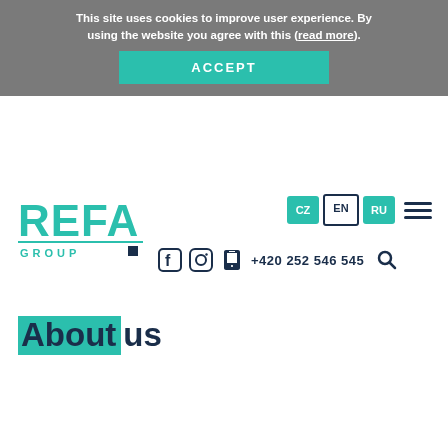This site uses cookies to improve user experience. By using the website you agree with this (read more).
ACCEPT
[Figure (logo): REFA GROUP logo in teal color]
CZ EN RU
+420 252 546 545
About us